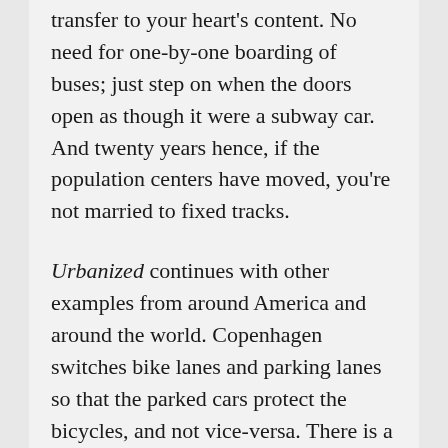transfer to your heart's content. No need for one-by-one boarding of buses; just step on when the doors open as though it were a subway car. And twenty years hence, if the population centers have moved, you're not married to fixed tracks.
Urbanized continues with other examples from around America and around the world. Copenhagen switches bike lanes and parking lanes so that the parked cars protect the bicycles, and not vice-versa. There is a section on sprawl, and Phoenix is the